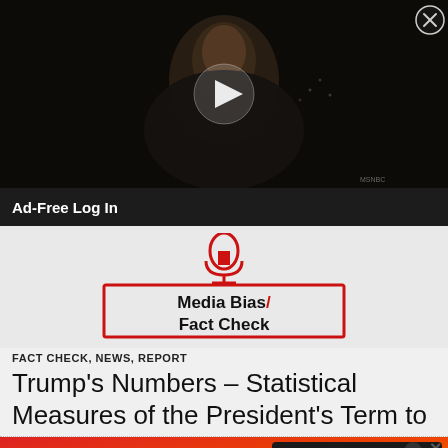[Figure (photo): Video thumbnail showing an older man in a dark suit and red tie against a dark background, with a white play button triangle overlay. A close button (X in a circle) appears in the top right corner.]
Ad-Free Log In
[Figure (logo): Media Bias / Fact Check logo: red microphone icon above a red-bordered rectangle containing bold text 'Media Bias / Fact Check' with a red slash]
FACT CHECK, NEWS, REPORT
Trump's Numbers – Statistical Measures of the President's Term to Date
[Figure (illustration): BitLife advertisement banner with cartoon emoji characters (devil, person with halo) on an orange-red background, with BitLife logo and 'REAL CHOICES' text on dark background. Close X button in corner.]